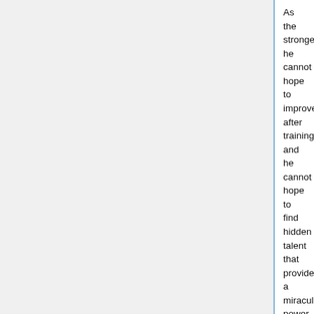As the strongest, he cannot hope to improve after training and he cannot hope to find hidden talent that provides a miraculous power up. I think that is why he could express such raw despair.
Now, what do you think of the situation the White Queen has presented him with?
At first glance, it looks like a hopeless dead end.
What options remain?
The simplest one is to just give up. You could give in to the silver twintailed Queen, submit to her because you can never defeat her, and then lose yourself in her strength and cuteness. That might be one possibility. As long as you can forget the initial humiliation, you might enjoy being what they call peerless.